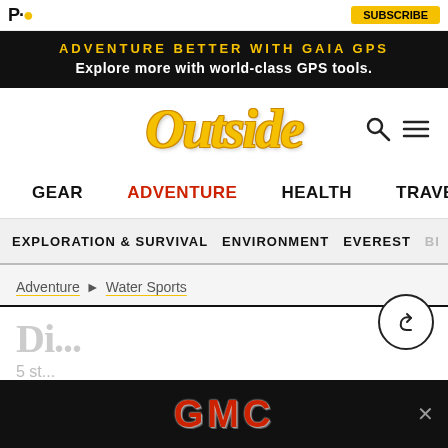Outside Magazine website header
ADVENTURE BETTER WITH GAIA GPS
Explore more with world-class GPS tools.
[Figure (logo): Outside Magazine logo in gold italic serif font]
GEAR  ADVENTURE  HEALTH  TRAVEL
EXPLORATION & SURVIVAL  ENVIRONMENT  EVEREST  BI...
Adventure > Water Sports
Di... (partial article title)
5 st... (partial article subheading)
[Figure (logo): GMC advertisement banner with red GMC logo on black background]